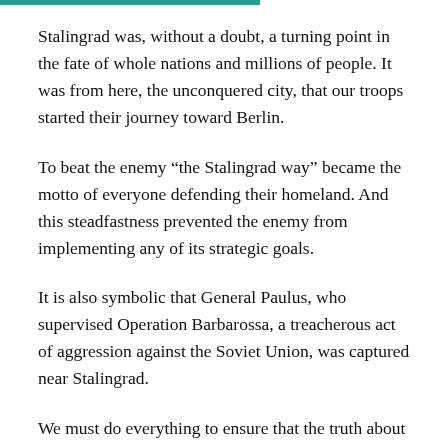Stalingrad was, without a doubt, a turning point in the fate of whole nations and millions of people. It was from here, the unconquered city, that our troops started their journey toward Berlin.
To beat the enemy “the Stalingrad way” became the motto of everyone defending their homeland. And this steadfastness prevented the enemy from implementing any of its strategic goals.
It is also symbolic that General Paulus, who supervised Operation Barbarossa, a treacherous act of aggression against the Soviet Union, was captured near Stalingrad.
We must do everything to ensure that the truth about Stalingrad and its memory never fade. We have to counter any attempts to distort the events of World War II, to adjust history for opportunistic political purposes, to shamelessly strike the heroic deeds of those who liberated the world from